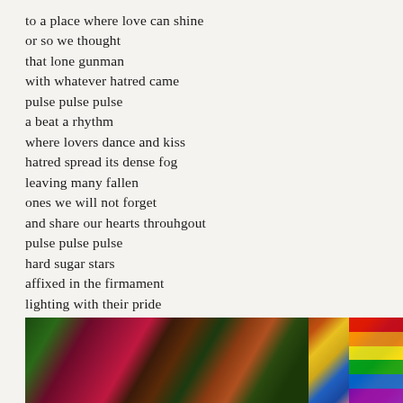to a place where love can shine
or so we thought
that lone gunman
with whatever hatred came
pulse pulse pulse
a beat a rhythm
where lovers dance and kiss
hatred spread its dense fog
leaving many fallen
ones we will not forget
and share our hearts throuhgout
pulse pulse pulse
hard sugar stars
affixed in the firmament
lighting with their pride
our every day
[Figure (photo): Photograph showing colorful flowers (purple, red, magenta) with green foliage, and a rainbow flag visible on the right edge, appearing to be a memorial or pride-related display.]